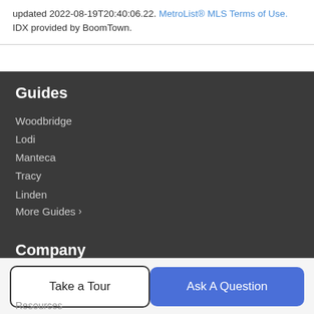updated 2022-08-19T20:40:06.22. MetroList® MLS Terms of Use. IDX provided by BoomTown.
Guides
Woodbridge
Lodi
Manteca
Tracy
Linden
More Guides >
Company
Meet The Team
Our Blog
Resources